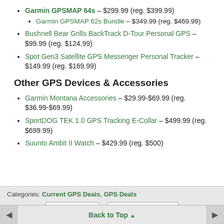Garmin GPSMAP 64s – $299.99 (reg. $399.99)
Garmin GPSMAP 62s Bundle – $349.99 (reg. $469.99)
Bushnell Bear Grills BackTrack D-Tour Personal GPS – $99.99 (reg. $124.99)
Spot Gen3 Satellite GPS Messenger Personal Tracker – $149.99 (reg. $169.99)
Other GPS Devices & Accessories
Garmin Montana Accessories – $29.99-$69.99 (reg. $36.99-$69.99)
SportDOG TEK 1.0 GPS Tracking E-Collar – $499.99 (reg. $699.99)
Suunto Ambit II Watch – $429.99 (reg. $500)
Categories: Current GPS Deals, GPS Deals
Back to Top